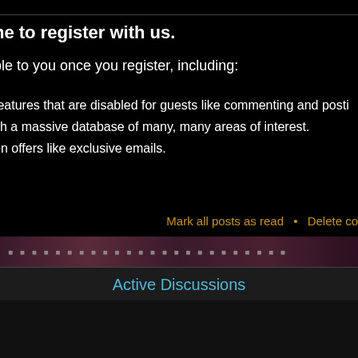ne to register with us.
ble to you once you register, including:
features that are disabled for guests like commenting and posti
ith a massive database of many, many areas of interest.
on offers like exclusive emails.
Mark all posts as read • Delete co
Active Discussions